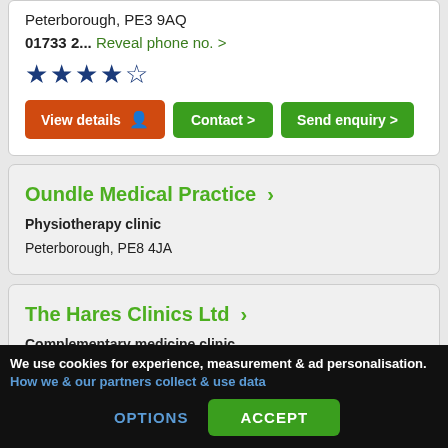Peterborough, PE3 9AQ
01733 2... Reveal phone no. >
★★★★★ (4.5 stars)
View details | Contact > | Send enquiry >
Oundle Medical Practice >
Physiotherapy clinic
Peterborough, PE8 4JA
The Hares Clinics Ltd >
Complementary medicine clinic
Peterborough, PE6 8TZ
We use cookies for experience, measurement & ad personalisation. How we & our partners collect & use data
OPTIONS   ACCEPT